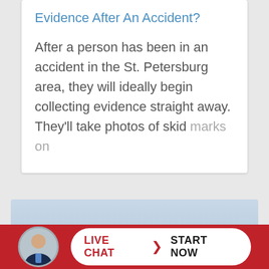Evidence After An Accident?
After a person has been in an accident in the St. Petersburg area, they will ideally begin collecting evidence straight away. They’ll take photos of skid marks on
[Figure (photo): Outdoor photo with light blue sky background and a dark vehicle or object partially visible]
[Figure (infographic): Live chat bar with attorney avatar photo, red background, white pill-shaped button reading LIVE CHAT and START NOW]